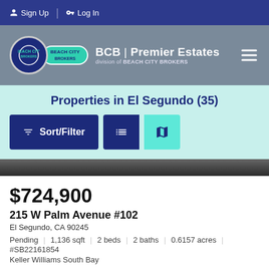Sign Up | Log In
[Figure (logo): Beach City Brokers logo with BCB Premier Estates branding and hamburger menu icon]
Properties in El Segundo (35)
[Figure (screenshot): Sort/Filter button and list/map view toggle buttons]
[Figure (photo): Property listing image - dark/grey bottom strip visible]
$724,900
215 W Palm Avenue #102
El Segundo, CA 90245
Pending | 1,136 sqft | 2 beds | 2 baths | 0.6157 acres | #SB22161854
Keller Williams South Bay